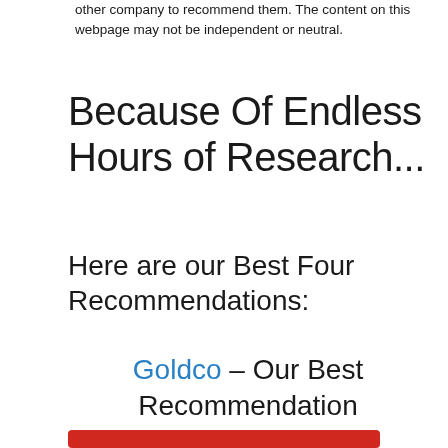other company to recommend them. The content on this webpage may not be independent or neutral.
Because Of Endless Hours of Research...
Here are our Best Four Recommendations:
Goldco – Our Best Recommendation
[Figure (logo): Goldco logo with golden flame/feather icon above the word GOLDCO in black serif capitals with a registered trademark symbol]